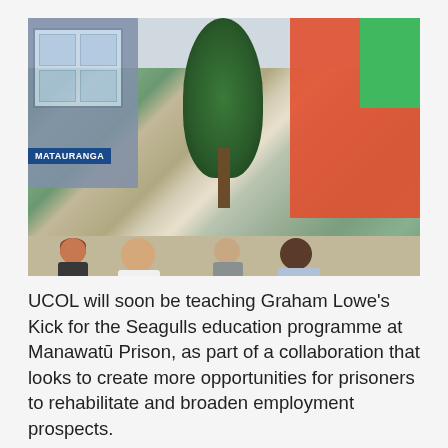[Figure (photo): Four people posing outdoors in front of a building with a 'Matauranga' sign. From left: a woman with red hair in a dark jacket, a large bald man in a white suit and black shirt, a woman in a patterned dress with a lanyard, and a tall man in a light blue suit jacket wearing sunglasses.]
UCOL will soon be teaching Graham Lowe's Kick for the Seagulls education programme at Manawatū Prison, as part of a collaboration that looks to create more opportunities for prisoners to rehabilitate and broaden employment prospects.